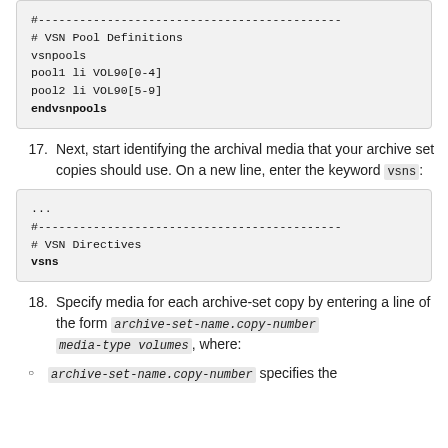[Figure (screenshot): Code block showing VSN Pool Definitions with vsnpools, pool1, pool2, and endvsnpools directives]
Next, start identifying the archival media that your archive set copies should use. On a new line, enter the keyword vsns:
[Figure (screenshot): Code block showing VSN Directives section with ellipsis, dashes, comment, and vsns keyword]
Specify media for each archive-set copy by entering a line of the form archive-set-name.copy-number media-type volumes, where:
archive-set-name.copy-number specifies the